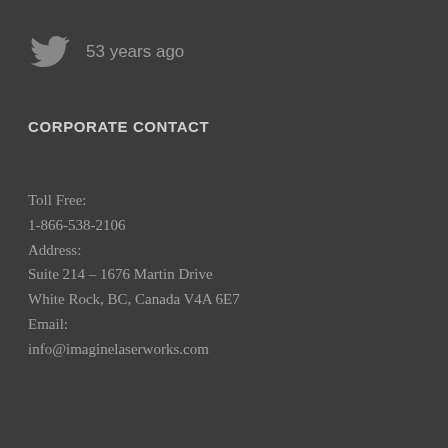[Figure (logo): Twitter bird icon in grey]
53 years ago
CORPORATE CONTACT
Toll Free:
1-866-538-2106
Address:
Suite 214 – 1676 Martin Drive
White Rock, BC, Canada V4A 6E7
Email:
info@imaginelaserworks.com